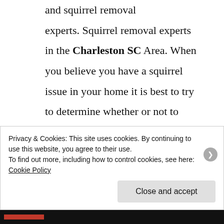and squirrel removal experts. Squirrel removal experts in the Charleston SC Area. When you believe you have a squirrel issue in your home it is best to try to determine whether or not to call a squirrel removal specialist to inspect your property. Sometimes a squirrel will find its way in the your attic or chimney
Privacy & Cookies: This site uses cookies. By continuing to use this website, you agree to their use.
To find out more, including how to control cookies, see here: Cookie Policy